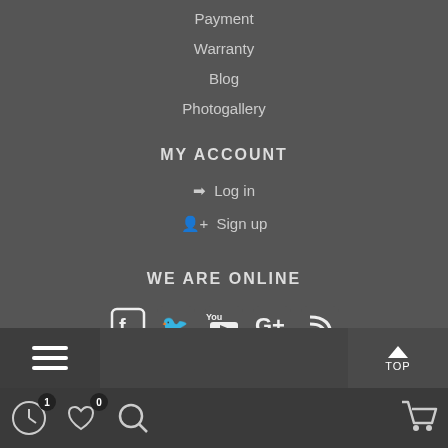Payment
Warranty
Blog
Photogallery
MY ACCOUNT
Log in
Sign up
WE ARE ONLINE
[Figure (infographic): Social media icons: Facebook, Twitter, YouTube, Google+, RSS feed]
TELL A FRIEND!
[Figure (infographic): Share buttons: VK, Odnoklassniki, Twitter, Viber, WhatsApp, Telegram]
Menu | TOP button | Clock(1) Heart(0) Search | Cart